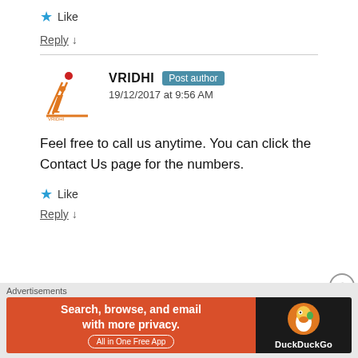★ Like
Reply ↓
VRIDHI Post author 19/12/2017 at 9:56 AM
Feel free to call us anytime. You can click the Contact Us page for the numbers.
★ Like
Reply ↓
[Figure (screenshot): DuckDuckGo advertisement banner: orange section with text 'Search, browse, and email with more privacy.' and 'All in One Free App', dark section with DuckDuckGo logo and duck icon]